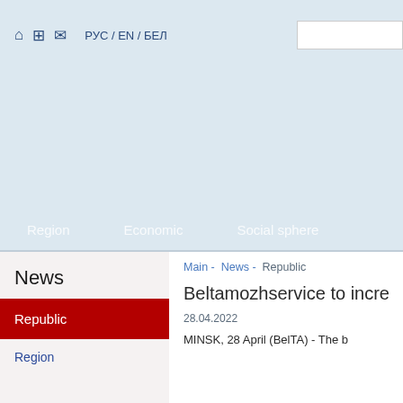РУС / EN / БЕЛ
[Figure (screenshot): Website header banner with light blue background, navigation icons (home, sitemap, mail), language links (РУС / EN / БЕЛ), and a search input box on the right.]
Region  Economic  Social sphere
Main - News - Republic
Beltamozhservice to incre
28.04.2022
News
Republic
Region
MINSK, 28 April (BelTA) - The b